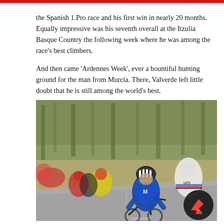the Spanish 1.Pro race and his first win in nearly 20 months. Equally impressive was his seventh overall at the Itzulia Basque Country the following week where he was among the race's best climbers.

And then came 'Ardennes Week', ever a bountiful hunting ground for the man from Murcia. There, Valverde left little doubt that he is still among the world's best.
[Figure (photo): Cyclists racing on a road, the lead rider wearing a blue Movistar team kit with a black and white helmet and blue sunglasses. Behind him are several other riders in various team kits including what appears to be the UCI world champion jersey. The background shows blurred trees. A dark circular logo with a chevron/mountain design is visible in the bottom right corner.]